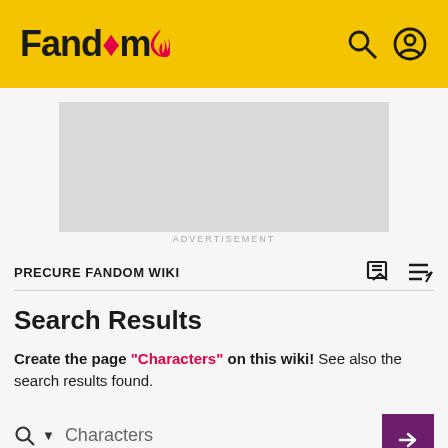Fandom
[Figure (other): Advertisement placeholder — grey rectangle]
ADVERTISEMENT
PRECURE FANDOM WIKI
Search Results
Create the page "Characters" on this wiki! See also the search results found.
Characters